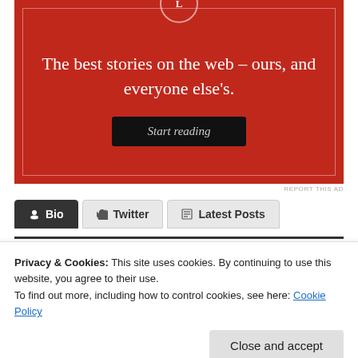[Figure (illustration): Red advertisement banner for Longreads with tagline 'The best stories on the web – ours, and everyone else's.' and a 'Start reading' button]
REPORT THIS AD
Bio | Twitter | Latest Posts (navigation tabs)
Privacy & Cookies: This site uses cookies. By continuing to use this website, you agree to their use.
To find out more, including how to control cookies, see here: Cookie Policy
Close and accept
Deehan smiled at her UK Editor from